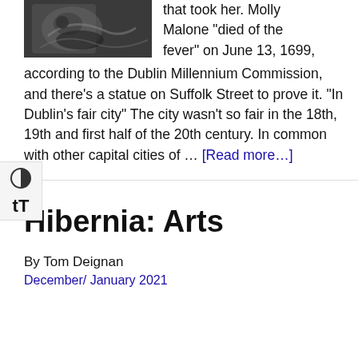[Figure (photo): Close-up photograph of a dark bronze statue, appears to be a face or figure detail]
that took her. Molly Malone “died of the fever” on June 13, 1699, according to the Dublin Millennium Commission, and there’s a statue on Suffolk Street to prove it. "In Dublin's fair city" The city wasn’t so fair in the 18th, 19th and first half of the 20th century. In common with other capital cities of … [Read more…]
Hibernia: Arts
By Tom Deignan
December/ January 2021